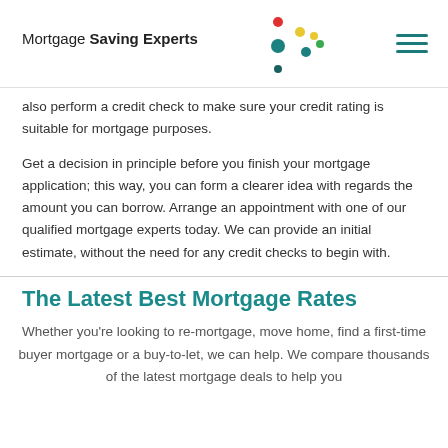Mortgage Saving Experts
also perform a credit check to make sure your credit rating is suitable for mortgage purposes.
Get a decision in principle before you finish your mortgage application; this way, you can form a clearer idea with regards the amount you can borrow. Arrange an appointment with one of our qualified mortgage experts today. We can provide an initial estimate, without the need for any credit checks to begin with.
The Latest Best Mortgage Rates
Whether you're looking to re-mortgage, move home, find a first-time buyer mortgage or a buy-to-let, we can help. We compare thousands of the latest mortgage deals to help you